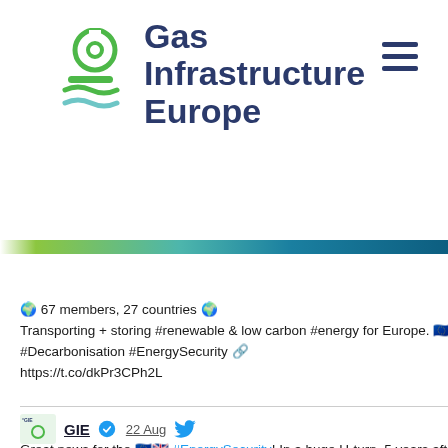[Figure (logo): Gas Infrastructure Europe logo with green circular and wave icon and dark blue text]
Gas Infrastructure Europe
[Figure (screenshot): Twitter/X profile card for GIE (@GIE) with Follow button, bio text about 67 members 27 countries, transporting and storing renewable and low carbon energy for Europe, Decarbonisation, EnergySecurity, and a second tweet from 22 Aug about EnergySecurity and Rough gasstorage facility]
🌍 67 members, 27 countries 🌍 Transporting + storing #renewable & low carbon #energy for Europe. 🇪🇺 #Decarbonisation #EnergySecurity 🔗 https://t.co/dkPr3CPh2L
Great news for the 🇪🇺🇬🇧 #EnergySecurity! In a huge U-turn, 5 years after the end of its operations, Rough #gasstorage facility will be brought back gradually